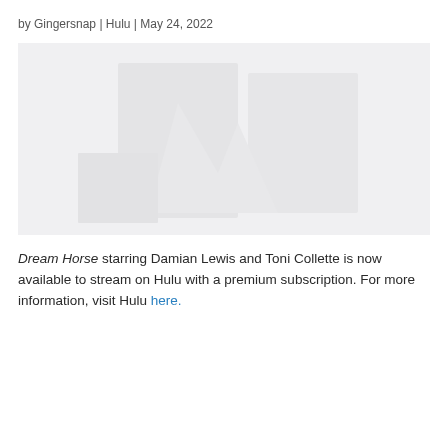by Gingersnap | Hulu | May 24, 2022
[Figure (photo): Faded/placeholder image for Dream Horse movie, light gray background with very faint indistinct imagery]
Dream Horse starring Damian Lewis and Toni Collette is now available to stream on Hulu with a premium subscription. For more information, visit Hulu here.